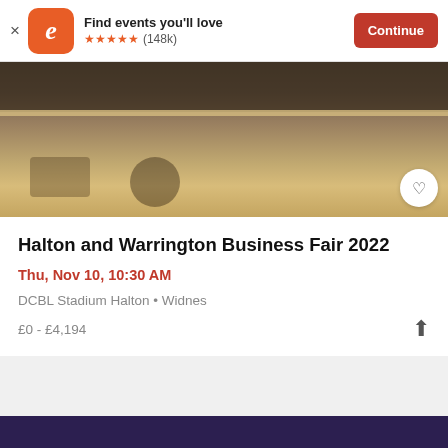Find events you'll love ★★★★★ (148k) Continue
[Figure (photo): Trade show or business fair venue interior with people, display tables, chairs, and railings visible in the background.]
Halton and Warrington Business Fair 2022
Thu, Nov 10, 10:30 AM
DCBL Stadium Halton • Widnes
£0 - £4,194